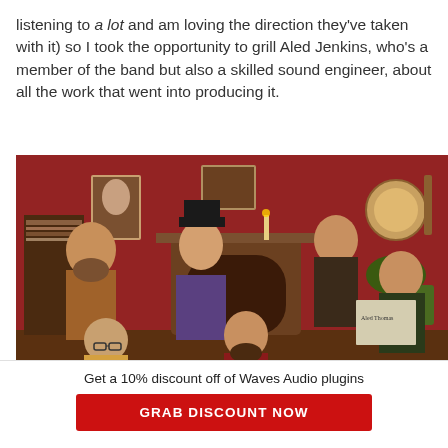listening to a lot and am loving the direction they've taken with it) so I took the opportunity to grill Aled Jenkins, who's a member of the band but also a skilled sound engineer, about all the work that went into producing it.
[Figure (illustration): Illustrated scene of several Victorian/steampunk-styled characters in a richly decorated room with fireplace, bookshelves, portraits, and a banjo on the wall. Characters include a bearded man with a drink, a man in a top hat, a bald man with glasses, a man with a beard reading or playing, and others. Newspaper visible reading 'Aled Thomas'.]
Get a 10% discount off of Waves Audio plugins
GRAB DISCOUNT NOW